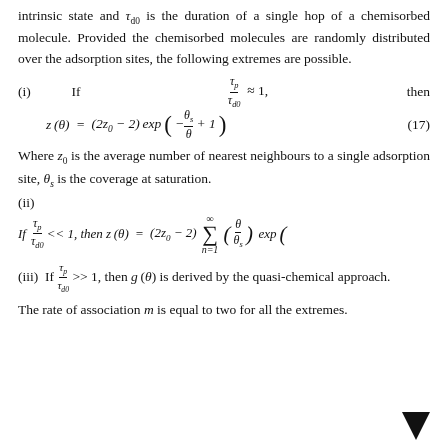intrinsic state and τ_d0 is the duration of a single hop of a chemisorbed molecule. Provided the chemisorbed molecules are randomly distributed over the adsorption sites, the following extremes are possible.
Where z_0 is the average number of nearest neighbours to a single adsorption site, θ_s is the coverage at saturation.
(iii) If τ_p/τ_d0 >> 1, then g(θ) is derived by the quasi-chemical approach.
The rate of association m is equal to two for all the extremes.